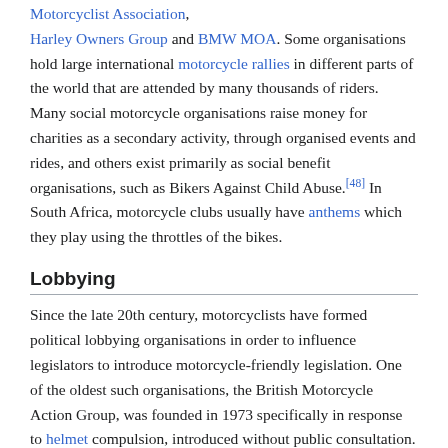Motorcyclist Association, Harley Owners Group and BMW MOA. Some organisations hold large international motorcycle rallies in different parts of the world that are attended by many thousands of riders. Many social motorcycle organisations raise money for charities as a secondary activity, through organised events and rides, and others exist primarily as social benefit organisations, such as Bikers Against Child Abuse.[48] In South Africa, motorcycle clubs usually have anthems which they play using the throttles of the bikes.
Lobbying
Since the late 20th century, motorcyclists have formed political lobbying organisations in order to influence legislators to introduce motorcycle-friendly legislation. One of the oldest such organisations, the British Motorcycle Action Group, was founded in 1973 specifically in response to helmet compulsion, introduced without public consultation.[49] In addition, the British Motorcyclists Federation (BMF), originally founded in 1960 as a reaction to the public perception of motorcyclists as leather-jacketed hooligans, has itself moved into political lobbying. Likewise, the U.S. has